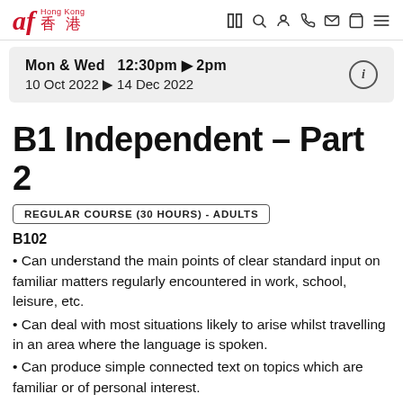af Hong Kong 香港 [navigation icons]
Mon & Wed  12:30pm ▶ 2pm
10 Oct 2022 ▶ 14 Dec 2022
B1 Independent – Part 2
REGULAR COURSE (30 HOURS) - ADULTS
B102
Can understand the main points of clear standard input on familiar matters regularly encountered in work, school, leisure, etc.
Can deal with most situations likely to arise whilst travelling in an area where the language is spoken.
Can produce simple connected text on topics which are familiar or of personal interest.